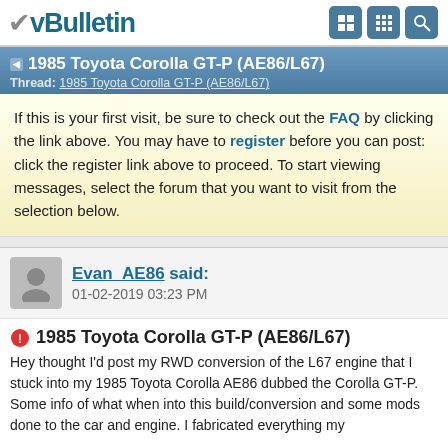vBulletin
1985 Toyota Corolla GT-P (AE86/L67)
Thread: 1985 Toyota Corolla GT-P (AE86/L67)
If this is your first visit, be sure to check out the FAQ by clicking the link above. You may have to register before you can post: click the register link above to proceed. To start viewing messages, select the forum that you want to visit from the selection below.
Evan_AE86 said:
01-02-2019 03:23 PM
1985 Toyota Corolla GT-P (AE86/L67)
Hey thought I'd post my RWD conversion of the L67 engine that I stuck into my 1985 Toyota Corolla AE86 dubbed the Corolla GT-P.
Some info of what when into this build/conversion and some mods done to the car and engine. I fabricated everything my